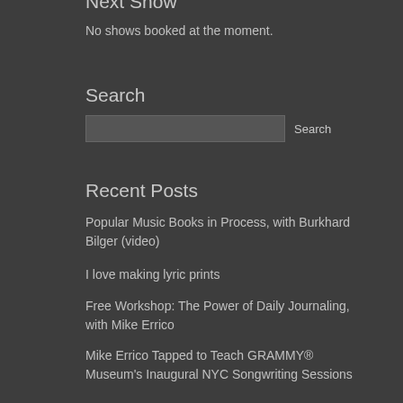Next Show
No shows booked at the moment.
Search
Recent Posts
Popular Music Books in Process, with Burkhard Bilger (video)
I love making lyric prints
Free Workshop: The Power of Daily Journaling, with Mike Errico
Mike Errico Tapped to Teach GRAMMY® Museum's Inaugural NYC Songwriting Sessions